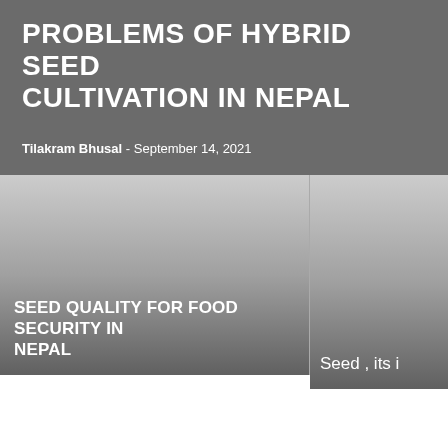PROBLEMS OF HYBRID SEED CULTIVATION IN NEPAL
Tilakram Bhusal - September 14, 2021
[Figure (screenshot): Two related article thumbnail cards side by side. Left card: gradient grey image with white text 'SEED QUALITY FOR FOOD SECURITY IN NEPAL'. Right card: gradient grey image with white text 'Seed , its' (partially cropped).]